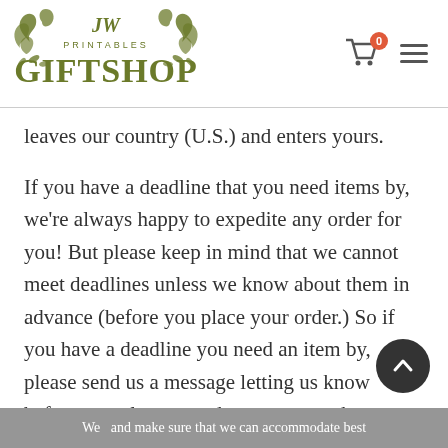[Figure (logo): JW Printables Gift Shop logo with decorative olive-green ornamental design and shopping cart icon with badge showing 0, and hamburger menu icon]
leaves our country (U.S.) and enters yours.
If you have a deadline that you need items by, we're always happy to expedite any order for you! But please keep in mind that we cannot meet deadlines unless we know about them in advance (before you place your order.) So if you have a deadline you need an item by, please send us a message letting us know before you place an order so we can ch and make sure that we can accommodate best
We and make sure that we can accommodate best